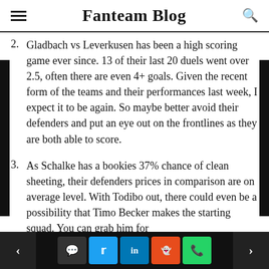Fanteam Blog
Gladbach vs Leverkusen has been a high scoring game ever since. 13 of their last 20 duels went over 2.5, often there are even 4+ goals. Given the recent form of the teams and their performances last week, I expect it to be again. So maybe better avoid their defenders and put an eye out on the frontlines as they are both able to score.
As Schalke has a bookies 37% chance of clean sheeting, their defenders prices in comparison are on average level. With Todibo out, there could even be a possibility that Timo Becker makes the starting squad. You can grab him for
< [comment] [twitter] [linkedin] [reddit] [whatsapp] >